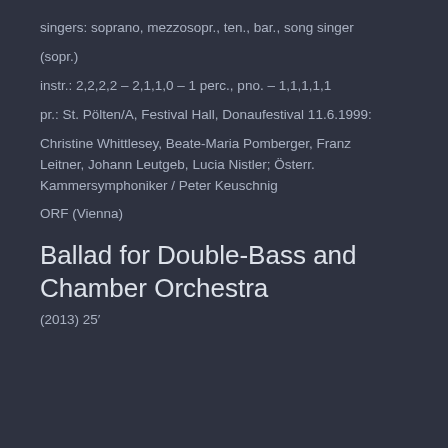singers: soprano, mezzosopr., ten., bar., song singer
(sopr.)
instr.: 2,2,2,2 – 2,1,1,0 – 1 perc., pno. – 1,1,1,1,1
pr.: St. Pölten/A, Festival Hall, Donaufestival 11.6.1999:
Christine Whittlesey, Beate-Maria Pomberger, Franz Leitner, Johann Leutgeb, Lucia Nistler; Österr. Kammersymphoniker / Peter Keuschnig
ORF (Vienna)
Ballad for Double-Bass and Chamber Orchestra
(2013) 25′